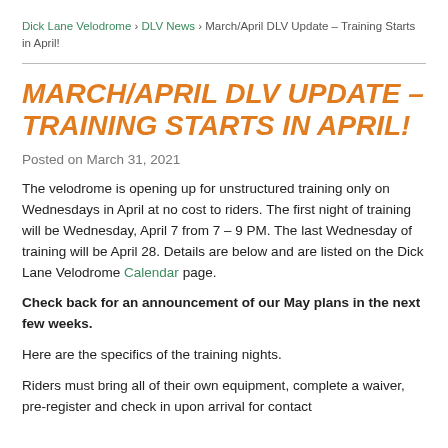Dick Lane Velodrome > DLV News > March/April DLV Update – Training Starts in April!
MARCH/APRIL DLV UPDATE – TRAINING STARTS IN APRIL!
Posted on March 31, 2021
The velodrome is opening up for unstructured training only on Wednesdays in April at no cost to riders. The first night of training will be Wednesday, April 7 from 7 – 9 PM. The last Wednesday of training will be April 28. Details are below and are listed on the Dick Lane Velodrome Calendar page.
Check back for an announcement of our May plans in the next few weeks.
Here are the specifics of the training nights.
Riders must bring all of their own equipment, complete a waiver, pre-register and check in upon arrival for contact